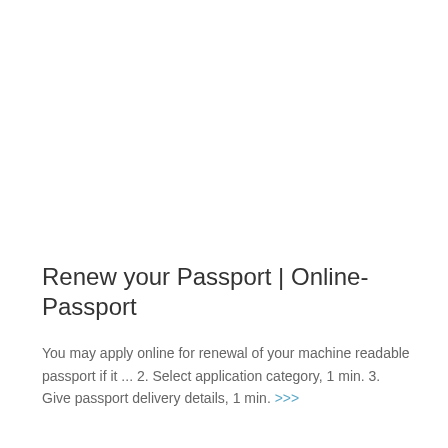Renew your Passport | Online-Passport
You may apply online for renewal of your machine readable passport if it ... 2. Select application category, 1 min. 3. Give passport delivery details, 1 min. >>>